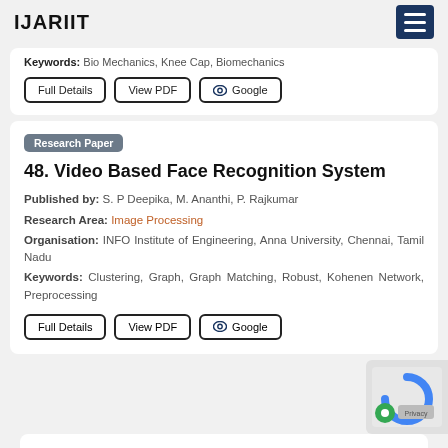IJARIIT
Keywords: Bio Mechanics, Knee Cap, Biomechanics
Full Details | View PDF | Google
Research Paper
48. Video Based Face Recognition System
Published by: S. P Deepika, M. Ananthi, P. Rajkumar
Research Area: Image Processing
Organisation: INFO Institute of Engineering, Anna University, Chennai, Tamil Nadu
Keywords: Clustering, Graph, Graph Matching, Robust, Kohenen Network, Preprocessing
Full Details | View PDF | Google